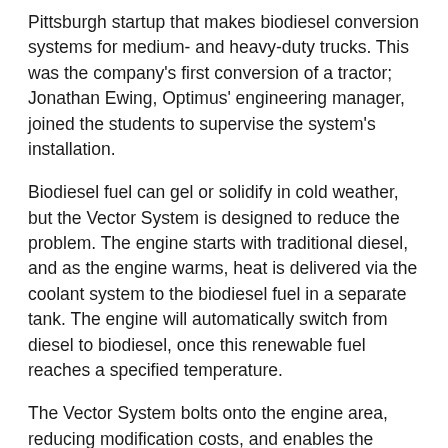Pittsburgh startup that makes biodiesel conversion systems for medium- and heavy-duty trucks. This was the company's first conversion of a tractor; Jonathan Ewing, Optimus' engineering manager, joined the students to supervise the system's installation.
Biodiesel fuel can gel or solidify in cold weather, but the Vector System is designed to reduce the problem. The engine starts with traditional diesel, and as the engine warms, heat is delivered via the coolant system to the biodiesel fuel in a separate tank. The engine will automatically switch from diesel to biodiesel, once this renewable fuel reaches a specified temperature.
The Vector System bolts onto the engine area, reducing modification costs, and enables the tractor to run on new clean fuels as they become available.
Another biodiesel benefit: breathing easy. Because the tractor uses a soy-based biodiesel, Ewing said, there is 60%